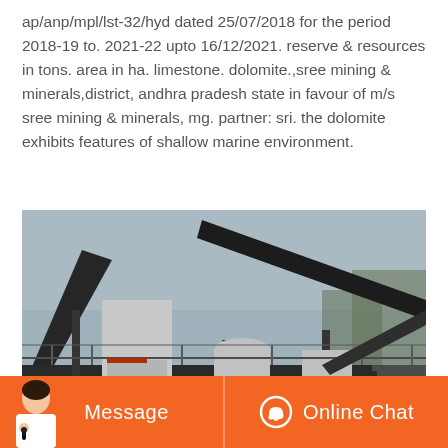ap/anp/mpl/lst-32/hyd dated 25/07/2018 for the period 2018-19 to. 2021-22 upto 16/12/2021. reserve & resources in tons. area in ha. limestone. dolomite.,sree mining & minerals,district, andhra pradesh state in favour of m/s sree mining & minerals, mg. partner: sri. the dolomite exhibits features of shallow marine environment.
[Figure (photo): Industrial mining machinery/crusher equipment — large black metal conveyor belts and crushing machines on a platform structure, photographed in black and white/desaturated tones.]